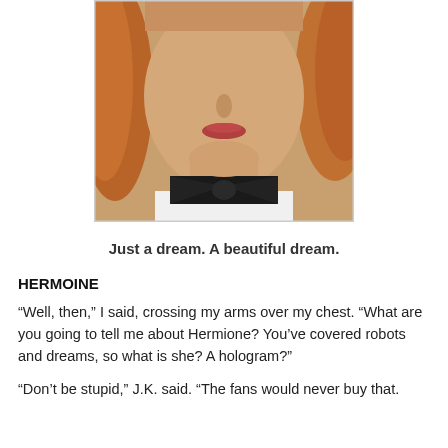[Figure (photo): Close-up photo of a young person with reddish-brown wavy hair, showing face from chin up and wearing a black bow tie with white collar]
Just a dream. A beautiful dream.
HERMOINE
“Well, then,” I said, crossing my arms over my chest. “What are you going to tell me about Hermione? You’ve covered robots and dreams, so what is she? A hologram?”
“Don’t be stupid,” J.K. said. “The fans would never buy that.